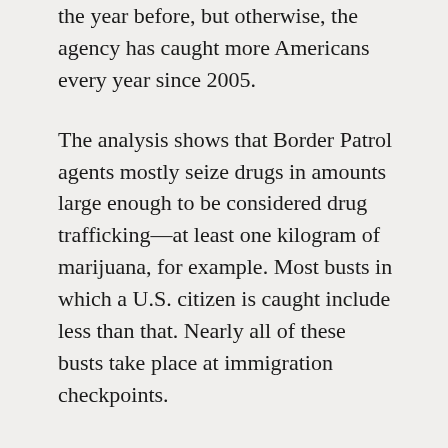the year before, but otherwise, the agency has caught more Americans every year since 2005.
The analysis shows that Border Patrol agents mostly seize drugs in amounts large enough to be considered drug trafficking—at least one kilogram of marijuana, for example. Most busts in which a U.S. citizen is caught include less than that. Nearly all of these busts take place at immigration checkpoints.
The Border Patrol's Tucson sector, long a major thoroughfare for illegal immigration, stands out as an outlier. More unauthorized immigrants were caught with drugs in that part of Arizona than U.S. citizens.